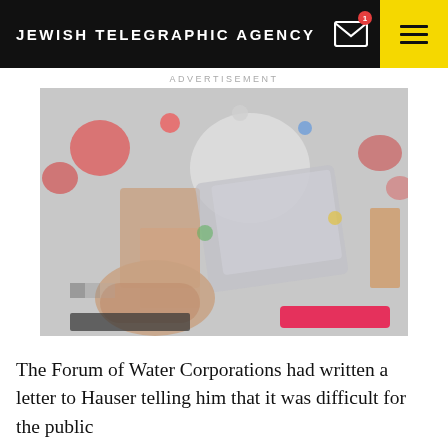JEWISH TELEGRAPHIC AGENCY
ADVERTISEMENT
[Figure (photo): Blurred/pixelated advertisement image showing colorful items on a flat lay background with a red button element at the bottom right]
The Forum of Water Corporations had written a letter to Hauser telling him that it was difficult for the public